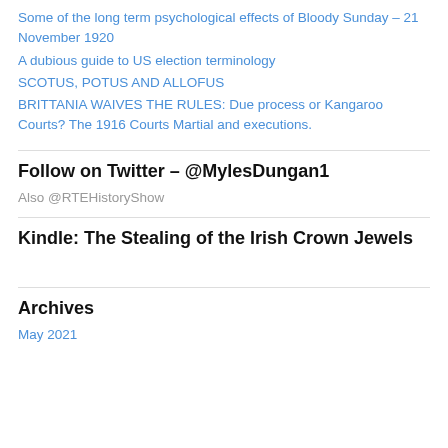Some of the long term psychological effects of Bloody Sunday – 21 November 1920
A dubious guide to US election terminology
SCOTUS, POTUS AND ALLOFUS
BRITTANIA WAIVES THE RULES: Due process or Kangaroo Courts? The 1916 Courts Martial and executions.
Follow on Twitter – @MylesDungan1
Also @RTEHistoryShow
Kindle: The Stealing of the Irish Crown Jewels
Archives
May 2021